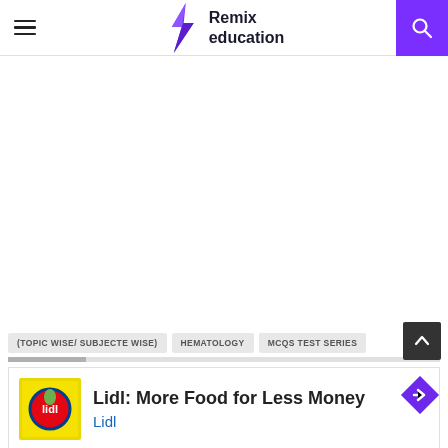Remix education
(TOPIC WISE/ SUBJECTE WISE)  HEMATOLOGY  MCQS TEST SERIES
[Figure (other): Advertisement banner for Lidl: More Food for Less Money]
Lidl: More Food for Less Money — Lidl